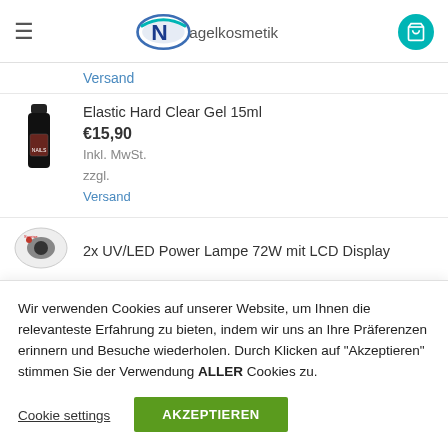Nagelkosmetik
Versand
[Figure (photo): Small product image of a dark nail gel bottle]
Elastic Hard Clear Gel 15ml
€15,90
Inkl. MwSt.
zzgl.
Versand
[Figure (photo): Partial product image of UV/LED lamp]
2x UV/LED Power Lampe 72W mit LCD Display
Wir verwenden Cookies auf unserer Website, um Ihnen die relevanteste Erfahrung zu bieten, indem wir uns an Ihre Präferenzen erinnern und Besuche wiederholen. Durch Klicken auf "Akzeptieren" stimmen Sie der Verwendung ALLER Cookies zu.
Cookie settings
AKZEPTIEREN